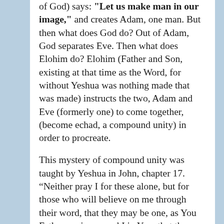of God) says: "Let us make man in our image," and creates Adam, one man. But then what does God do? Out of Adam, God separates Eve. Then what does Elohim do? Elohim (Father and Son, existing at that time as the Word, for without Yeshua was nothing made that was made) instructs the two, Adam and Eve (formerly one) to come together, (become echad, a compound unity) in order to procreate.
This mystery of compound unity was taught by Yeshua in John, chapter 17. “Neither pray I for these alone, but for those who will believe on me through their word, that they may be one, as You Father are in me and I in You, that they may be